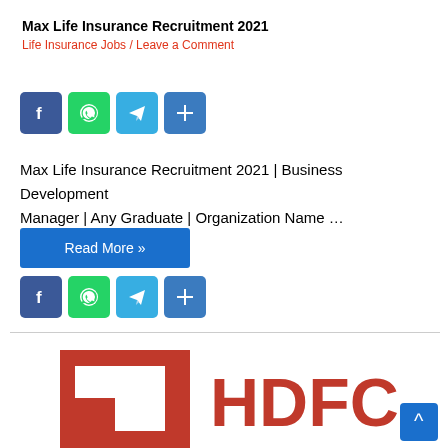Max Life Insurance Recruitment 2021
Life Insurance Jobs / Leave a Comment
[Figure (other): Social share icons: Facebook, WhatsApp, Telegram, Share (top set)]
Max Life Insurance Recruitment 2021 | Business Development Manager | Any Graduate | Organization Name …
Read More »
[Figure (other): Social share icons: Facebook, WhatsApp, Telegram, Share (bottom set)]
[Figure (logo): HDFC logo with red square bracket graphic and red HDFC text, partially visible at bottom of page]